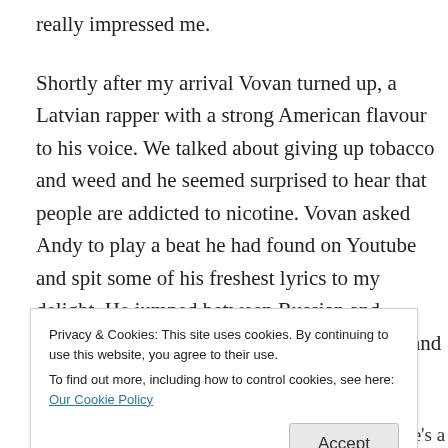really impressed me.
Shortly after my arrival Vovan turned up, a Latvian rapper with a strong American flavour to his voice. We talked about giving up tobacco and weed and he seemed surprised to hear that people are addicted to nicotine. Vovan asked Andy to play a beat he had found on Youtube and spit some of his freshest lyrics to my delight. He jumped between Russian and English and kept a steady beat, cheeky lines and fresh references made for some quality listening.
Privacy & Cookies: This site uses cookies. By continuing to use this website, you agree to their use.
To find out more, including how to control cookies, see here: Our Cookie Policy
with a DSER though. Give Vovan a listen here. He's a